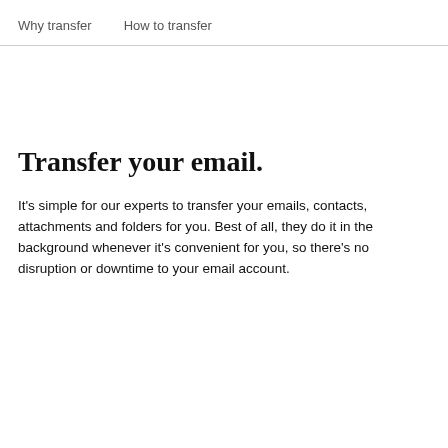Why transfer    How to transfer
Transfer your email.
It's simple for our experts to transfer your emails, contacts, attachments and folders for you. Best of all, they do it in the background whenever it's convenient for you, so there's no disruption or downtime to your email account.